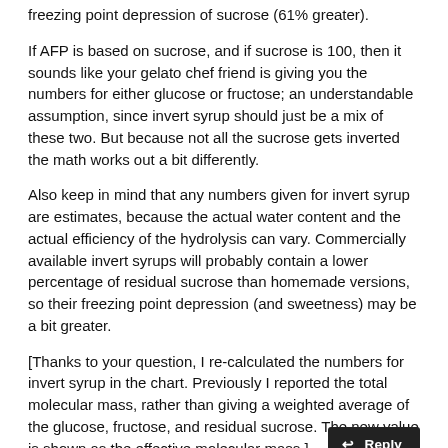freezing point depression of sucrose (61% greater).
If AFP is based on sucrose, and if sucrose is 100, then it sounds like your gelato chef friend is giving you the numbers for either glucose or fructose; an understandable assumption, since invert syrup should just be a mix of these two. But because not all the sucrose gets inverted the math works out a bit differently.
Also keep in mind that any numbers given for invert syrup are estimates, because the actual water content and the actual efficiency of the hydrolysis can vary. Commercially available invert syrups will probably contain a lower percentage of residual sucrose than homemade versions, so their freezing point depression (and sweetness) may be a bit greater.
[Thanks to your question, I re-calculated the numbers for invert syrup in the chart. Previously I reported the total molecular mass, rather than giving a weighted average of the glucose, fructose, and residual sucrose. The new value is shown as the effective molecular mass.]